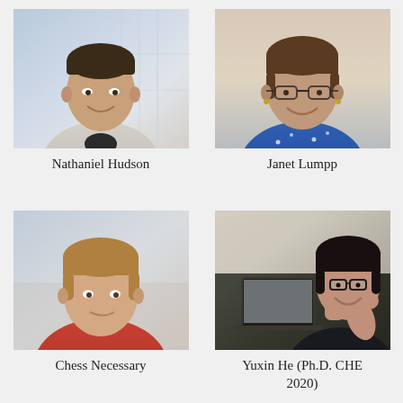[Figure (photo): Portrait photo of Nathaniel Hudson, a young man in a light grey sweater standing near large windows]
Nathaniel Hudson
[Figure (photo): Portrait photo of Janet Lumpp, a woman with short brown hair wearing glasses and a blue patterned top]
Janet Lumpp
[Figure (photo): Photo of Chess Necessary, a young man wearing a red long-sleeve shirt, smiling slightly]
Chess Necessary
[Figure (photo): Photo of Yuxin He giving a thumbs up near a laptop in a kitchen setting]
Yuxin He (Ph.D. CHE 2020)